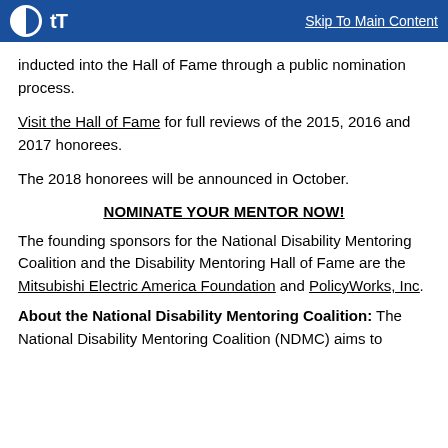Skip To Main Content
inducted into the Hall of Fame through a public nomination process.
Visit the Hall of Fame for full reviews of the 2015, 2016 and 2017 honorees.
The 2018 honorees will be announced in October.
NOMINATE YOUR MENTOR NOW!
The founding sponsors for the National Disability Mentoring Coalition and the Disability Mentoring Hall of Fame are the Mitsubishi Electric America Foundation and PolicyWorks, Inc.
About the National Disability Mentoring Coalition: The National Disability Mentoring Coalition (NDMC) aims to